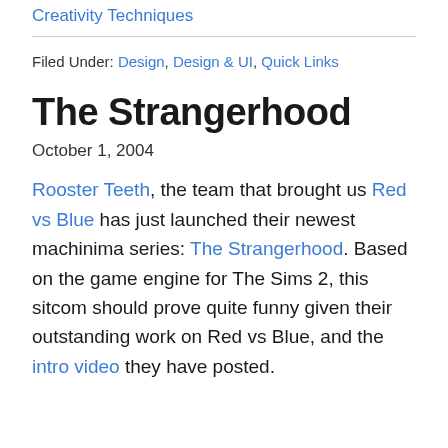Creativity Techniques
Filed Under: Design, Design & UI, Quick Links
The Strangerhood
October 1, 2004
Rooster Teeth, the team that brought us Red vs Blue has just launched their newest machinima series: The Strangerhood. Based on the game engine for The Sims 2, this sitcom should prove quite funny given their outstanding work on Red vs Blue, and the intro video they have posted.